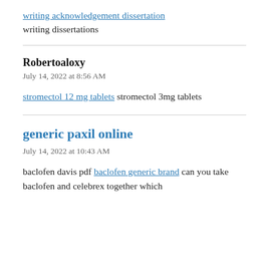writing acknowledgement dissertation
writing dissertations
Robertoaloxy
July 14, 2022 at 8:56 AM
stromectol 12 mg tablets stromectol 3mg tablets
generic paxil online
July 14, 2022 at 10:43 AM
baclofen davis pdf baclofen generic brand can you take baclofen and celebrex together which